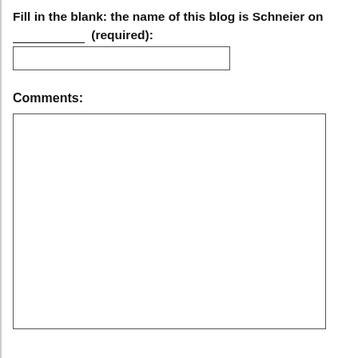Fill in the blank: the name of this blog is Schneier on ____________ (required):
[Figure (other): Empty text input box for the fill-in-the-blank answer]
Comments:
[Figure (other): Large empty textarea for comments]